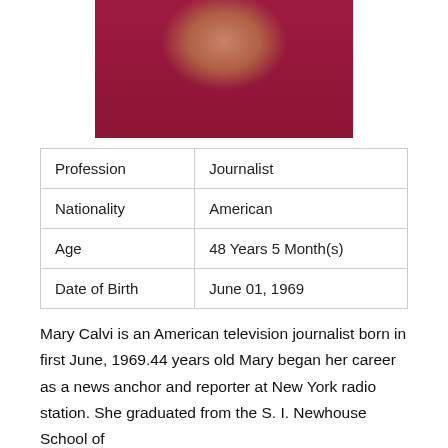[Figure (photo): Headshot photo of Mary Calvi wearing a magenta/dark pink dress with shoulder detail and brown hair]
| Profession | Journalist |
| Nationality | American |
| Age | 48 Years 5 Month(s) |
| Date of Birth | June 01, 1969 |
Mary Calvi is an American television journalist born in first June, 1969.44 years old Mary began her career as a news anchor and reporter at New York radio station. She graduated from the S. I. Newhouse School of